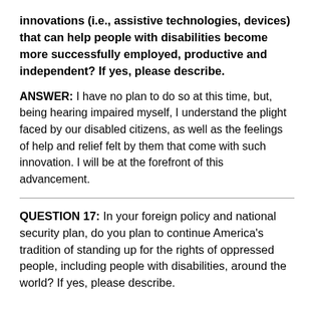innovations (i.e., assistive technologies, devices) that can help people with disabilities become more successfully employed, productive and independent? If yes, please describe.
ANSWER: I have no plan to do so at this time, but, being hearing impaired myself, I understand the plight faced by our disabled citizens, as well as the feelings of help and relief felt by them that come with such innovation. I will be at the forefront of this advancement.
QUESTION 17: In your foreign policy and national security plan, do you plan to continue America's tradition of standing up for the rights of oppressed people, including people with disabilities, around the world? If yes, please describe.